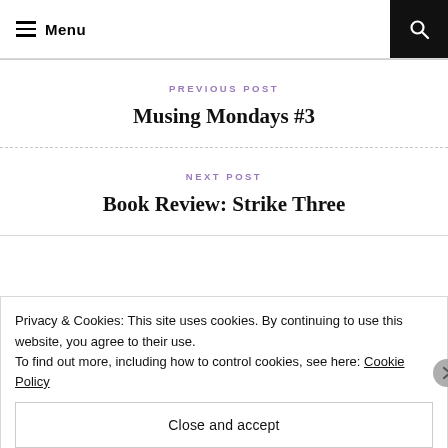Menu
PREVIOUS POST
Musing Mondays #3
NEXT POST
Book Review: Strike Three
Privacy & Cookies: This site uses cookies. By continuing to use this website, you agree to their use.
To find out more, including how to control cookies, see here: Cookie Policy
Close and accept